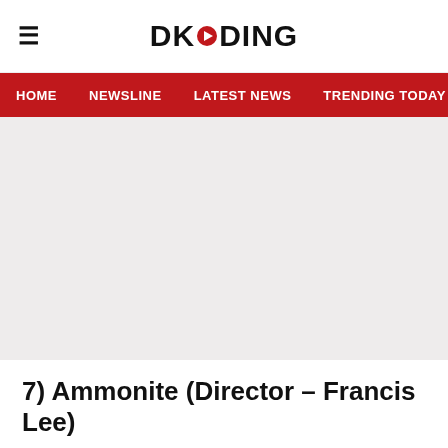DKODING
HOME   NEWSLINE   LATEST NEWS   TRENDING TODAY   ENT
[Figure (other): Advertisement or image placeholder area (blank/grey)]
7) Ammonite (Director – Francis Lee)
Ammonite saw its premiere at the Toronto